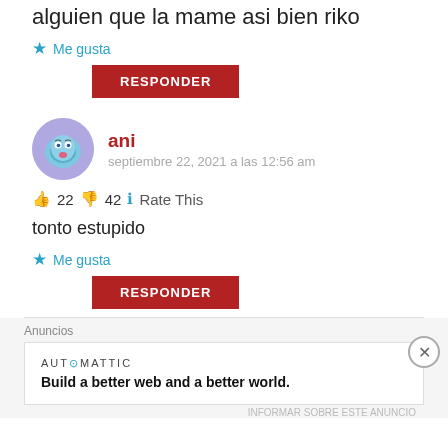alguien que la mame asi bien riko
★ Me gusta
RESPONDER
ani
septiembre 22, 2021 a las 12:56 am
👍 22 👎 42 ℹ Rate This
tonto estupido
★ Me gusta
RESPONDER
Anuncios
AUTOMATTIC
Build a better web and a better world.